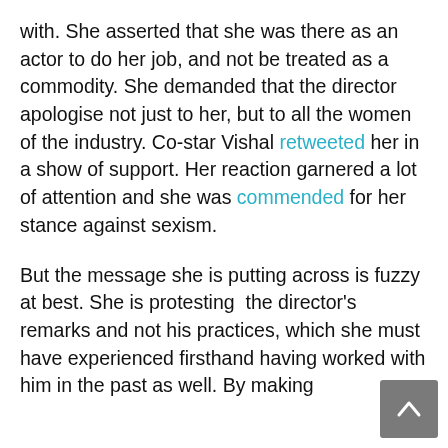with. She asserted that she was there as an actor to do her job, and not be treated as a commodity. She demanded that the director apologise not just to her, but to all the women of the industry. Co-star Vishal retweeted her in a show of support. Her reaction garnered a lot of attention and she was commended for her stance against sexism.
But the message she is putting across is fuzzy at best. She is protesting  the director's remarks and not his practices, which she must have experienced firsthand having worked with him in the past as well. By making